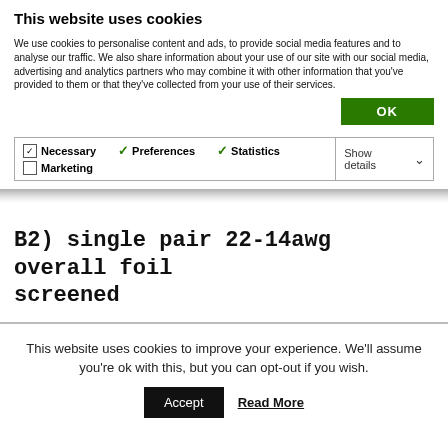This website uses cookies
We use cookies to personalise content and ads, to provide social media features and to analyse our traffic. We also share information about your use of our site with our social media, advertising and analytics partners who may combine it with other information that you've provided to them or that they've collected from your use of their services.
| Necessary | Preferences | Statistics | Show details |
| Marketing |  |  |  |
B2) single pair 22-14awg overall foil screened
This website uses cookies to improve your experience. We'll assume you're ok with this, but you can opt-out if you wish.